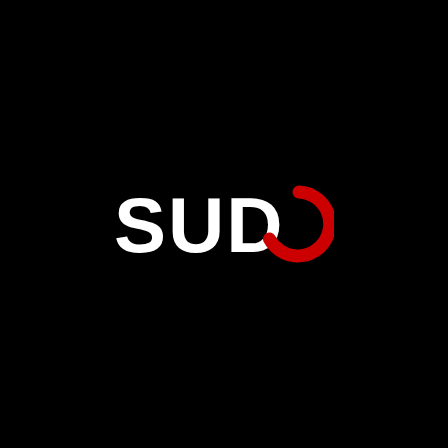[Figure (logo): SUDO logo: the word SUDO in large bold rounded sans-serif letters on a black background. S, U, D are white; the O is rendered as an open circle arc in red (like a power symbol or incomplete circle), missing the bottom portion.]